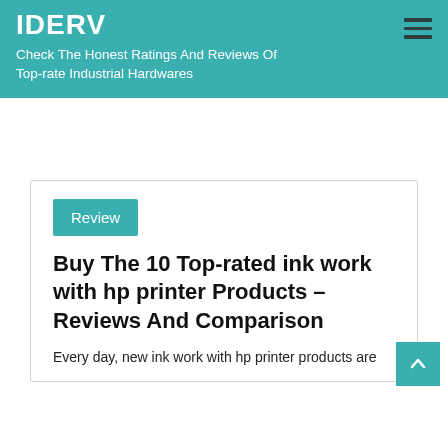IDERV
Check The Honest Ratings And Reviews Of Top-rate Industrial Hardwares
Review
Buy The 10 Top-rated ink work with hp printer Products – Reviews And Comparison
Every day, new ink work with hp printer products are